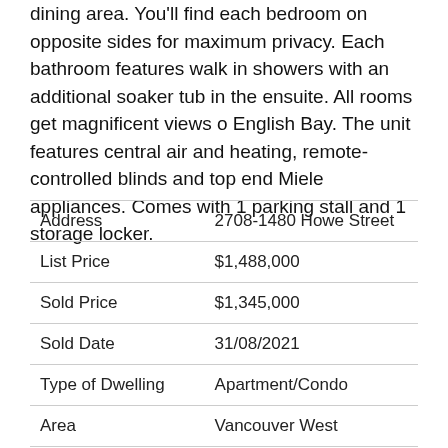dining area. You'll find each bedroom on opposite sides for maximum privacy. Each bathroom features walk in showers with an additional soaker tub in the ensuite. All rooms get magnificent views o English Bay. The unit features central air and heating, remote-controlled blinds and top end Miele appliances. Comes with 1 parking stall and 1 storage locker.
|  |  |
| --- | --- |
| Address | 2708-1480 Howe Street |
| List Price | $1,488,000 |
| Sold Price | $1,345,000 |
| Sold Date | 31/08/2021 |
| Type of Dwelling | Apartment/Condo |
| Area | Vancouver West |
| Sub-Area | Yaletown |